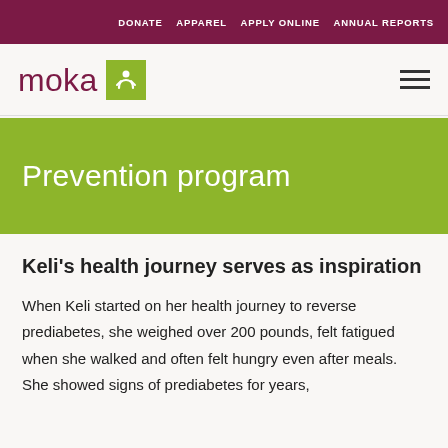DONATE  APPAREL  APPLY ONLINE  ANNUAL REPORTS
[Figure (logo): Moka logo with olive green icon square containing a stylized M figure, and hamburger menu icon]
Prevention program
Keli's health journey serves as inspiration
When Keli started on her health journey to reverse prediabetes, she weighed over 200 pounds, felt fatigued when she walked and often felt hungry even after meals. She showed signs of prediabetes for years,